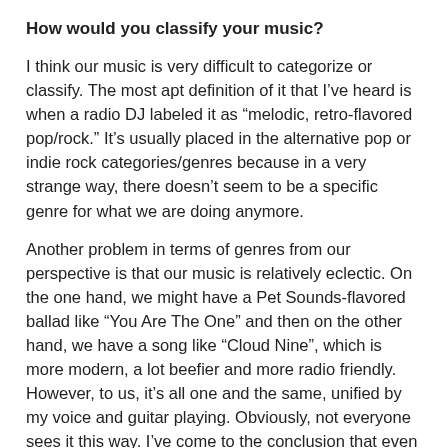How would you classify your music?
I think our music is very difficult to categorize or classify. The most apt definition of it that I’ve heard is when a radio DJ labeled it as “melodic, retro-flavored pop/rock.” It’s usually placed in the alternative pop or indie rock categories/genres because in a very strange way, there doesn’t seem to be a specific genre for what we are doing anymore.
Another problem in terms of genres from our perspective is that our music is relatively eclectic. On the one hand, we might have a Pet Sounds-flavored ballad like “You Are The One” and then on the other hand, we have a song like “Cloud Nine”, which is more modern, a lot beefier and more radio friendly. However, to us, it’s all one and the same, unified by my voice and guitar playing. Obviously, not everyone sees it this way. I’ve come to the conclusion that even many music lovers are awfully genre-sensitive these days.
Who are some of your top 5 musical influences?